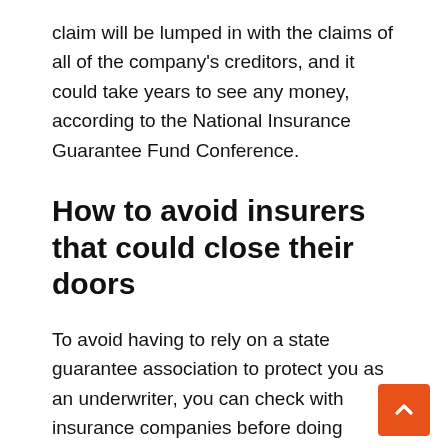claim will be lumped in with the claims of all of the company's creditors, and it could take years to see any money, according to the National Insurance Guarantee Fund Conference.
How to avoid insurers that could close their doors
To avoid having to rely on a state guarantee association to protect you as an underwriter, you can check with insurance companies before doing business with them to make sure they are financially sound.
Insurance companies are rated on their financial strength by independent agencies that each